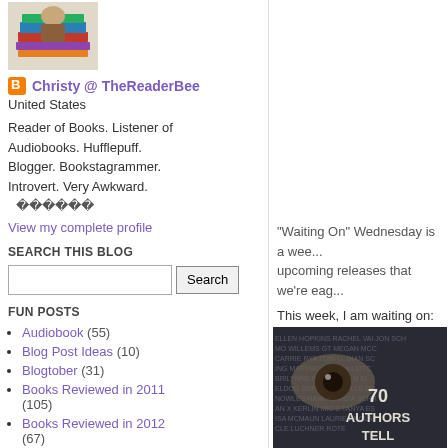[Figure (photo): Stack of books with a figure, blog profile image]
Christy @ TheReaderBee
United States
Reader of Books. Listener of Audiobooks. Hufflepuff. Blogger. Bookstagrammer. Introvert. Very Awkward. ������
View my complete profile
SEARCH THIS BLOG
FUN POSTS
Audiobook (55)
Blog Post Ideas (10)
Blogtober (31)
Books Reviewed in 2011 (105)
Books Reviewed in 2012 (67)
"Waiting On" Wednesday is a wee... upcoming releases that we're eag...
This week, I am waiting on:
[Figure (photo): Book cover showing '70 Authors Tell Their Stories' with a close-up eye and author names in the background]